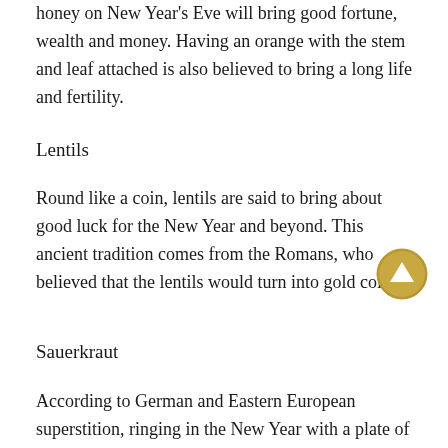honey on New Year's Eve will bring good fortune, wealth and money. Having an orange with the stem and leaf attached is also believed to bring a long life and fertility.
Lentils
Round like a coin, lentils are said to bring about good luck for the New Year and beyond. This ancient tradition comes from the Romans, who believed that the lentils would turn into gold coins.
[Figure (illustration): Gold circular upward-arrow button icon]
Sauerkraut
According to German and Eastern European superstition, ringing in the New Year with a plate of